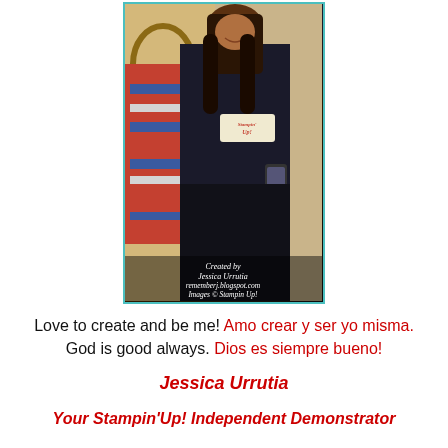[Figure (photo): Photo of Jessica Urrutia wearing a dark Stampin Up apron, standing in what appears to be a dining room. The photo has a teal/turquoise border. Overlaid italic text reads: Created by Jessica Urrutia rememberj.blogspot.com Images © Stampin Up!]
Love to create and be me! Amo crear y ser yo misma. God is good always. Dios es siempre bueno!
Jessica Urrutia
Your Stampin'Up! Independent Demonstrator